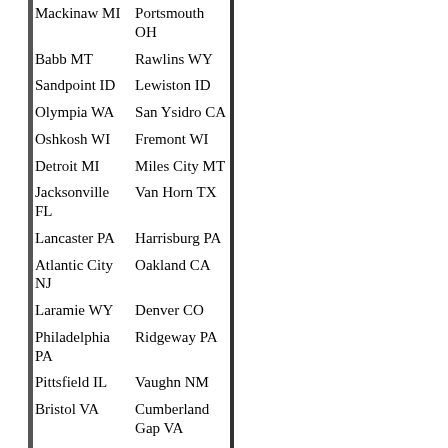| City 1 | City 2 |
| --- | --- |
| Mackinaw MI | Portsmouth OH |
| Babb MT | Rawlins WY |
| Sandpoint ID | Lewiston ID |
| Olympia WA | San Ysidro CA |
| Oshkosh WI | Fremont WI |
| Detroit MI | Miles City MT |
| Jacksonville FL | Van Horn TX |
| Lancaster PA | Harrisburg PA |
| Atlantic City NJ | Oakland CA |
| Laramie WY | Denver CO |
| Philadelphia PA | Ridgeway PA |
| Pittsfield IL | Vaughn NM |
| Bristol VA | Cumberland Gap VA |
| Miami FL | Naples FL |
| Portsmouth |  |